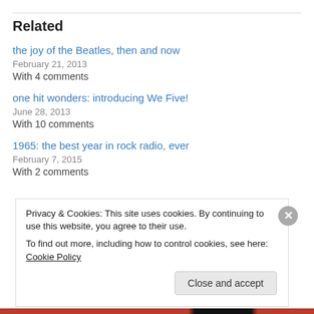Related
the joy of the Beatles, then and now
February 21, 2013
With 4 comments
one hit wonders: introducing We Five!
June 28, 2013
With 10 comments
1965: the best year in rock radio, ever
February 7, 2015
With 2 comments
Privacy & Cookies: This site uses cookies. By continuing to use this website, you agree to their use.
To find out more, including how to control cookies, see here: Cookie Policy